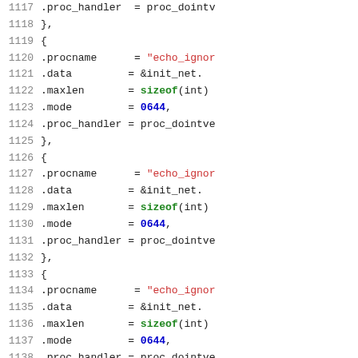[Figure (screenshot): Source code listing showing C struct initializer blocks for Linux kernel IPv6 ICMP sysctl table entries, lines 1117-1144, with syntax highlighting: line numbers in gray, keywords in green bold, string literals in red, numeric literals in blue bold, identifiers in black monospace.]